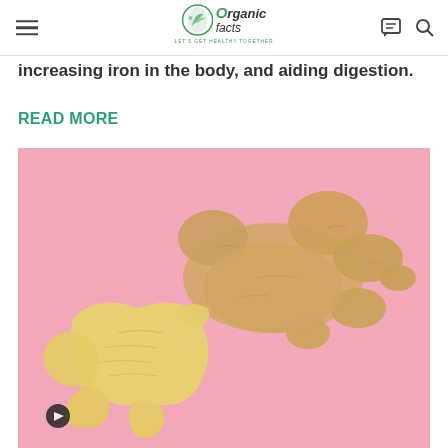Organic Facts — LET'S GET HEALTHY TOGETHER
increasing iron in the body, and aiding digestion.
READ MORE
[Figure (photo): Photograph of fresh ginger root — whole knobbly rhizome and a sliced piece showing yellow interior, arranged on a pink background]